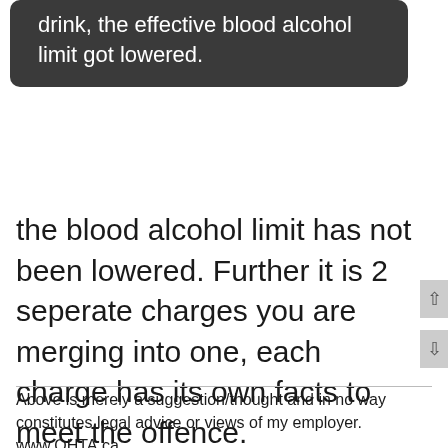drink, the effective blood alcohol limit got lowered.
the blood alcohol limit has not been lowered. Further it is 2 seperate charges you are merging into one, each charge has its own facts to meet the offence.
Above is merely a suggestion/thought and in no way constitutes legal advice or views of my employer. www.OHTA.ca